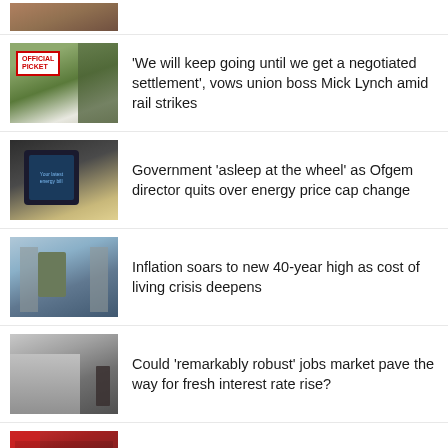[Figure (photo): Partial news thumbnail visible at top of page]
[Figure (photo): Official Picket sign with man in background at rail strike]
'We will keep going until we get a negotiated settlement', vows union boss Mick Lynch amid rail strikes
[Figure (photo): Smartphone showing energy bill with coins in background]
Government 'asleep at the wheel' as Ofgem director quits over energy price cap change
[Figure (photo): Woman with shopping cart in supermarket aisle]
Inflation soars to new 40-year high as cost of living crisis deepens
[Figure (photo): Bank of England building with statue]
Could 'remarkably robust' jobs market pave the way for fresh interest rate rise?
[Figure (photo): Crowd of workers near red bus]
Workers suffer record pay slump in face of rocketing inflation